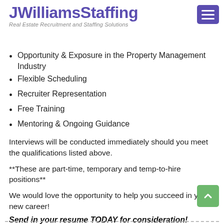JWilliamsStaffing
Real Estate Recruitment and Staffing Solutions
Opportunity & Exposure in the Property Management Industry
Flexible Scheduling
Recruiter Representation
Free Training
Mentoring & Ongoing Guidance
Interviews will be conducted immediately should you meet the qualifications listed above.
**These are part-time, temporary and temp-to-hire positions**
We would love the opportunity to help you succeed in your new career!
Send in your resume TODAY for consideration!